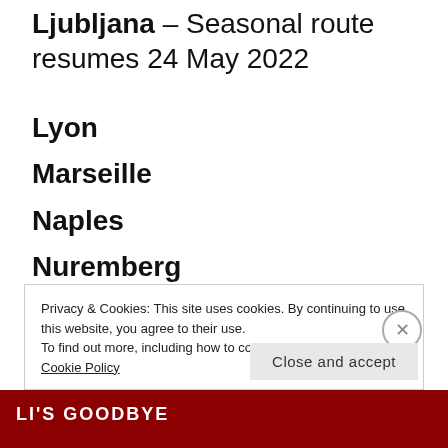Ljubljana – Seasonal route resumes 24 May 2022
Lyon
Marseille
Naples
Nuremberg
Privacy & Cookies: This site uses cookies. By continuing to use this website, you agree to their use.
To find out more, including how to control cookies, see here: Cookie Policy
Close and accept